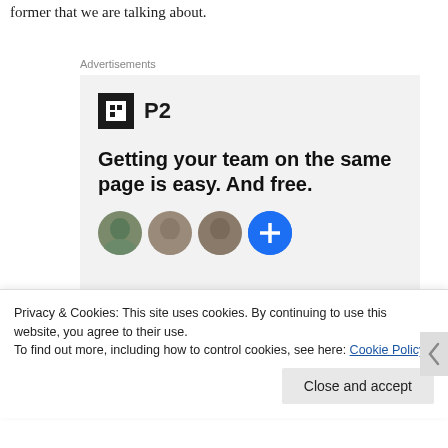former that we are talking about.
Advertisements
[Figure (illustration): P2 advertisement: logo with bold P2 text, headline 'Getting your team on the same page is easy. And free.' with user avatar circles below including a blue circle with plus icon.]
Privacy & Cookies: This site uses cookies. By continuing to use this website, you agree to their use.
To find out more, including how to control cookies, see here: Cookie Policy
Close and accept